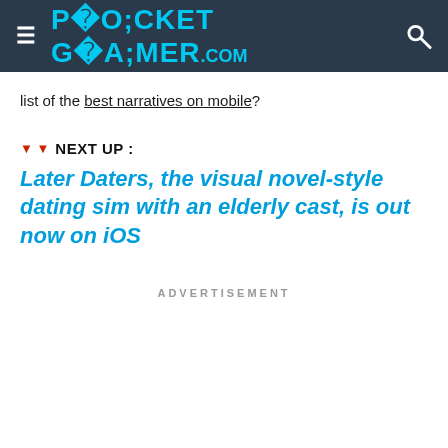POCKET GAMER.com
list of the best narratives on mobile?
▼ ▼  NEXT UP :
Later Daters, the visual novel-style dating sim with an elderly cast, is out now on iOS
ADVERTISEMENT